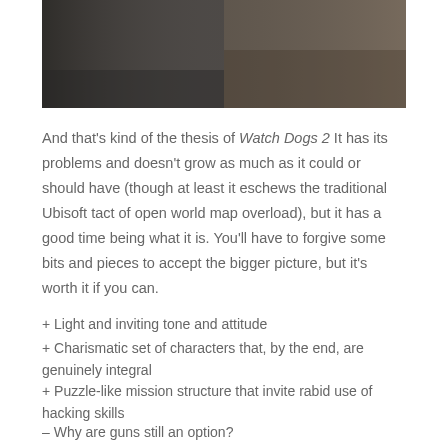[Figure (photo): Screenshot from Watch Dogs 2 showing two characters in an urban setting]
And that's kind of the thesis of Watch Dogs 2 It has its problems and doesn't grow as much as it could or should have (though at least it eschews the traditional Ubisoft tact of open world map overload), but it has a good time being what it is. You'll have to forgive some bits and pieces to accept the bigger picture, but it's worth it if you can.
+ Light and inviting tone and attitude
+ Charismatic set of characters that, by the end, are genuinely integral
+ Puzzle-like mission structure that invite rabid use of hacking skills
– Why are guns still an option?